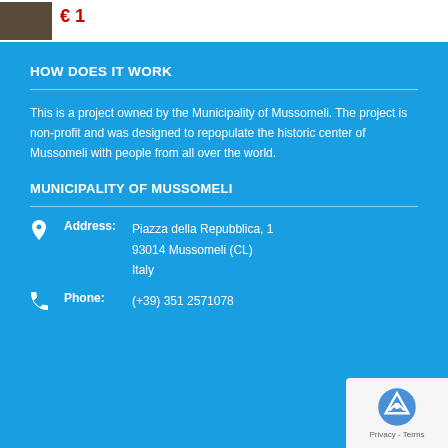[Figure (photo): Small thumbnail photo of a building or street scene]
HOW DOES IT WORK
This is a project owned by the Municipality of Mussomeli. The project is non-profit and was designed to repopulate the historic center of Mussomeli with people from all over the world.
MUNICIPALITY OF MUSSOMELI
Address: Piazza della Repubblica, 1
93014 Mussomeli (CL)
Italy
Phone: (+39) 351 2571078